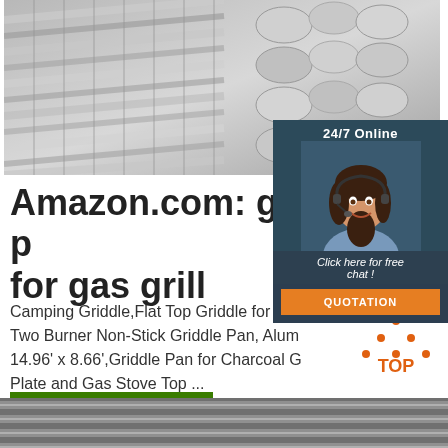[Figure (photo): Close-up photo of stacked silver/aluminum metal rods or tubes]
[Figure (infographic): 24/7 Online chat widget with woman wearing headset, 'Click here for free chat!' text, and orange QUOTATION button]
Amazon.com: griddle p for gas grill
Camping Griddle,Flat Top Griddle for Sto Two Burner Non-Stick Griddle Pan, Alum 14.96' x 8.66',Griddle Pan for Charcoal G Plate and Gas Stove Top ...
[Figure (logo): TOP logo with orange dots arranged in triangle, orange bold text reading TOP]
[Figure (photo): Partial photo of metal ribbed surface at bottom of page]